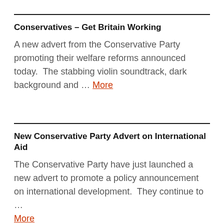Conservatives – Get Britain Working
A new advert from the Conservative Party promoting their welfare reforms announced today.  The stabbing violin soundtrack, dark background and … More
New Conservative Party Advert on International Aid
The Conservative Party have just launched a new advert to promote a policy announcement on international development.  They continue to … More